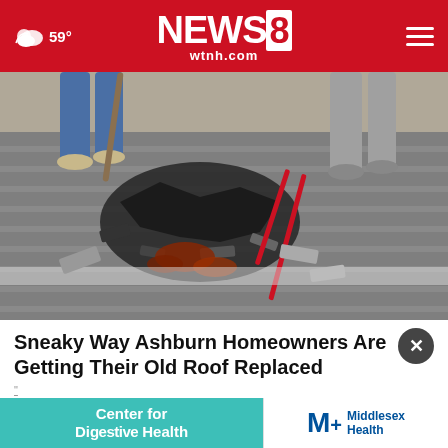59° NEWS8 wtnh.com
[Figure (photo): Workers on a roof replacing old shingles, removing damaged/burned roofing material, with torn up shingles and debris visible on the rooftop surface.]
Sneaky Way Ashburn Homeowners Are Getting Their Old Roof Replaced
Smart Consumer Update
[Figure (infographic): Advertisement banner: left side teal/green with 'Center for Digestive Health' text in white; right side white with Middlesex Health logo.]